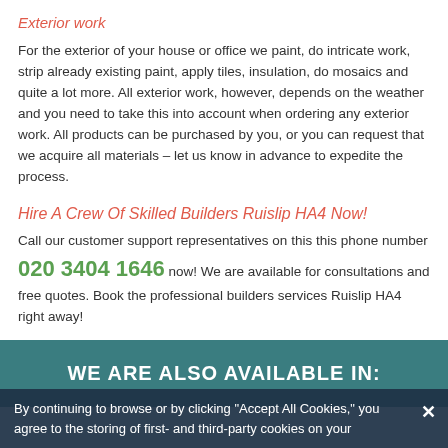Exterior work
For the exterior of your house or office we paint, do intricate work, strip already existing paint, apply tiles, insulation, do mosaics and quite a lot more. All exterior work, however, depends on the weather and you need to take this into account when ordering any exterior work. All products can be purchased by you, or you can request that we acquire all materials – let us know in advance to expedite the process.
Hire A Crew Of Skilled Builders Ruislip HA4 Now!
Call our customer support representatives on this this phone number 020 3404 1646 now! We are available for consultations and free quotes. Book the professional builders services Ruislip HA4 right away!
WE ARE ALSO AVAILABLE IN:
By continuing to browse or by clicking "Accept All Cookies," you agree to the storing of first- and third-party cookies on your